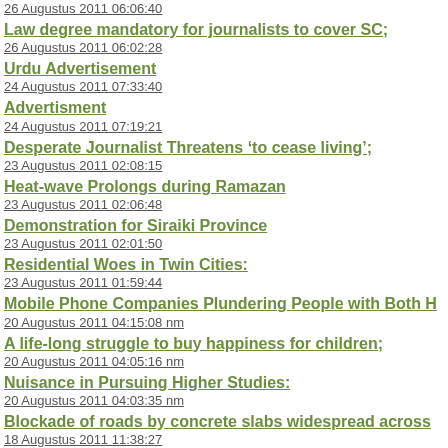26 Augustus 2011 06:06:40
Law degree mandatory for journalists to cover SC;
26 Augustus 2011 06:02:28
Urdu Advertisement
24 Augustus 2011 07:33:40
Advertisment
24 Augustus 2011 07:19:21
Desperate Journalist Threatens ‘to cease living’;
23 Augustus 2011 02:08:15
Heat-wave Prolongs during Ramazan
23 Augustus 2011 02:06:48
Demonstration for Siraiki Province
23 Augustus 2011 02:01:50
Residential Woes in Twin Cities:
23 Augustus 2011 01:59:44
Mobile Phone Companies Plundering People with Both H
20 Augustus 2011 04:15:08 nm
A life-long struggle to buy happiness for children;
20 Augustus 2011 04:05:16 nm
Nuisance in Pursuing Higher Studies:
20 Augustus 2011 04:03:35 nm
Blockade of roads by concrete slabs widespread across
18 Augustus 2011 11:38:27
An Agreement for a Halal Industrial Park between Halal P
18 Augustus 2011 11:38:34